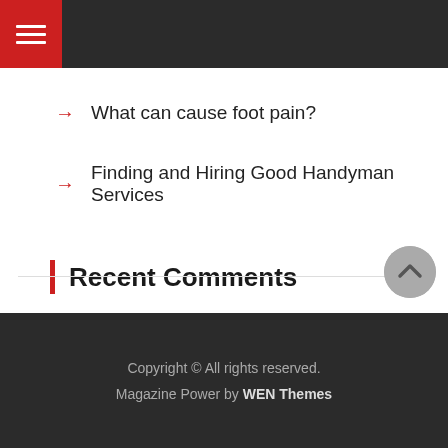What can cause foot pain?
Finding and Hiring Good Handyman Services
Recent Comments
Copyright © All rights reserved.
Magazine Power by WEN Themes